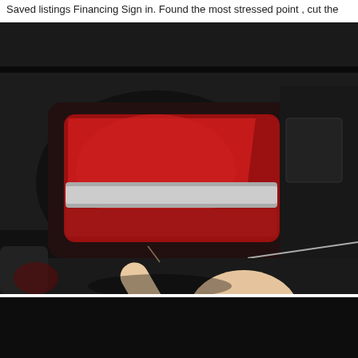Saved listings Financing Sign in. Found the most stressed point , cut the
[Figure (photo): A hand with index finger pointing at a car tail light (red and white lens) on a dark vehicle, while the other hand holds a small screwdriver or tool near the bumper area. The trunk is open, showing the tail light assembly and surrounding black trim.]
[Figure (photo): Mostly black image, appears to be the beginning of another video frame below the main photo.]